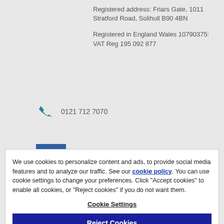Registered address: Friars Gate, 1011 Stratford Road, Solihull B90 4BN
Registered in England Wales 10790375: VAT Reg 195 092 877
0121 712 7070
We use cookies to personalize content and ads, to provide social media features and to analyze our traffic. See our cookie policy. You can use cookie settings to change your preferences. Click "Accept cookies" to enable all cookies, or "Reject cookies" if you do not want them.
Cookie Settings
Reject Cookies
Accept Cookies